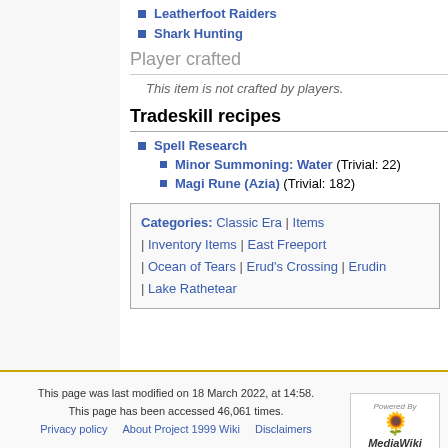Leatherfoot Raiders
Shark Hunting
Player crafted
This item is not crafted by players.
Tradeskill recipes
Spell Research
Minor Summoning: Water (Trivial: 22)
Magi Rune (Azia) (Trivial: 182)
Categories: Classic Era | Items | Inventory Items | East Freeport | Ocean of Tears | Erud's Crossing | Erudin | Lake Rathetear
This page was last modified on 18 March 2022, at 14:58. This page has been accessed 46,061 times. Privacy policy About Project 1999 Wiki Disclaimers